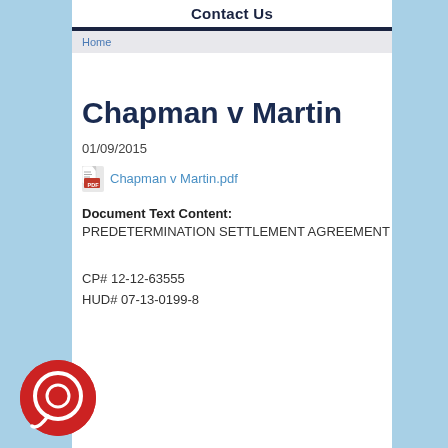Contact Us
Home
Chapman v Martin
01/09/2015
Chapman v Martin.pdf
Document Text Content: PREDETERMINATION SETTLEMENT AGREEMENT
CP# 12-12-63555
HUD# 07-13-0199-8